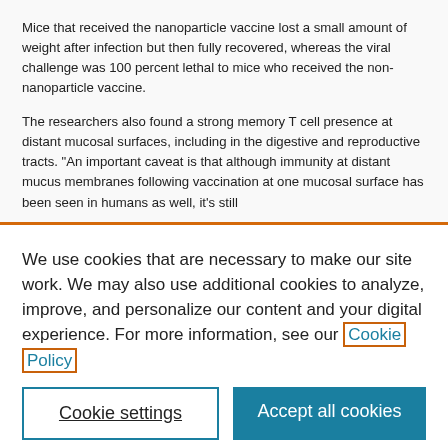Mice that received the nanoparticle vaccine lost a small amount of weight after infection but then fully recovered, whereas the viral challenge was 100 percent lethal to mice who received the non-nanoparticle vaccine.
The researchers also found a strong memory T cell presence at distant mucosal surfaces, including in the digestive and reproductive tracts. “An important caveat is that although immunity at distant mucus membranes following vaccination at one mucosal surface has been seen in humans as well, it’s still
We use cookies that are necessary to make our site work. We may also use additional cookies to analyze, improve, and personalize our content and your digital experience. For more information, see our Cookie Policy
Cookie settings
Accept all cookies